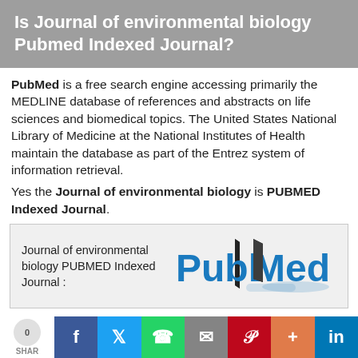Is Journal of environmental biology Pubmed Indexed Journal?
PubMed is a free search engine accessing primarily the MEDLINE database of references and abstracts on life sciences and biomedical topics. The United States National Library of Medicine at the National Institutes of Health maintain the database as part of the Entrez system of information retrieval.
Yes the Journal of environmental biology is PUBMED Indexed Journal.
[Figure (logo): PubMed logo alongside text: Journal of environmental biology PUBMED Indexed Journal :]
0 SHARE | Facebook | Twitter | WhatsApp | Email | Pinterest | More | LinkedIn